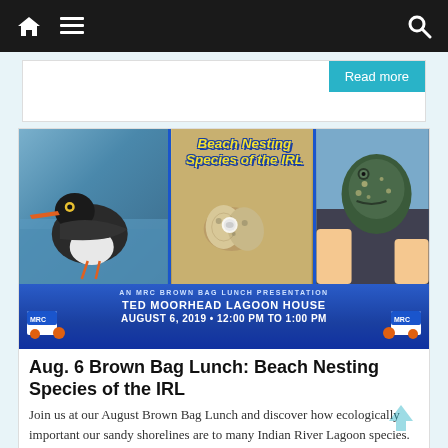Navigation bar with home, menu, and search icons
Read more
[Figure (photo): Event promotional banner for 'Beach Nesting Species of the IRL' — an MRC Brown Bag Lunch Presentation at Ted Moorhead Lagoon House, August 6, 2019, 12:00 PM to 1:00 PM. Features images of an oystercatcher bird, beach nesting eggs, and a sea turtle.]
Aug. 6 Brown Bag Lunch: Beach Nesting Species of the IRL
Join us at our August Brown Bag Lunch and discover how ecologically important our sandy shorelines are to many Indian River Lagoon species.